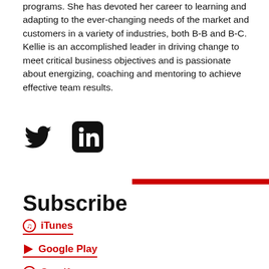programs. She has devoted her career to learning and adapting to the ever-changing needs of the market and customers in a variety of industries, both B-B and B-C. Kellie is an accomplished leader in driving change to meet critical business objectives and is passionate about energizing, coaching and mentoring to achieve effective team results.
[Figure (logo): Twitter bird icon and LinkedIn 'in' rounded square icon]
Subscribe
iTunes
Google Play
Spotify
RSS Feed